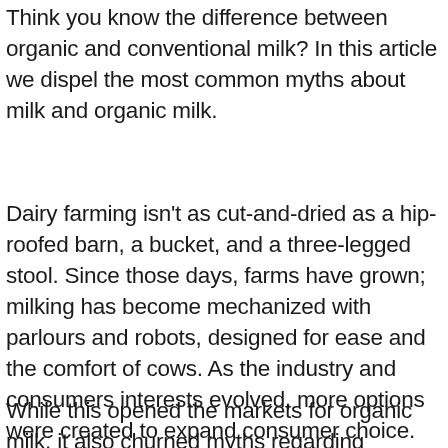Think you know the difference between organic and conventional milk? In this article we dispel the most common myths about milk and organic milk.
Dairy farming isn't as cut-and-dried as a hip-roofed barn, a bucket, and a three-legged stool. Since those days, farms have grown; milking has become mechanized with parlours and robots, designed for ease and the comfort of cows. As the industry and consumers interests evolved, more options were created to expand consumer choice.
While this opened the markets for organic milk, it also churned myths regarding organic and